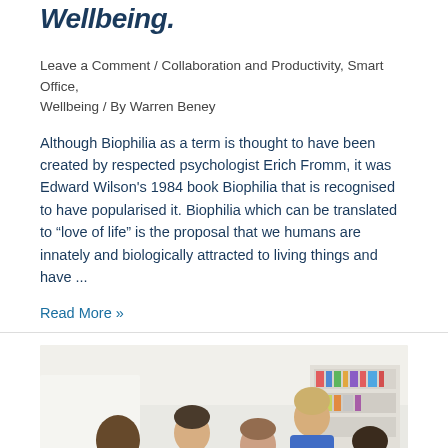Wellbeing.
Leave a Comment / Collaboration and Productivity, Smart Office, Wellbeing / By Warren Beney
Although Biophilia as a term is thought to have been created by respected psychologist Erich Fromm, it was Edward Wilson's 1984 book Biophilia that is recognised to have popularised it. Biophilia which can be translated to “love of life” is the proposal that we humans are innately and biologically attracted to living things and have …
Read More »
[Figure (photo): A group of four office workers gathered around a desk in a bright office, collaborating and looking at documents. Bookshelves visible in the background.]